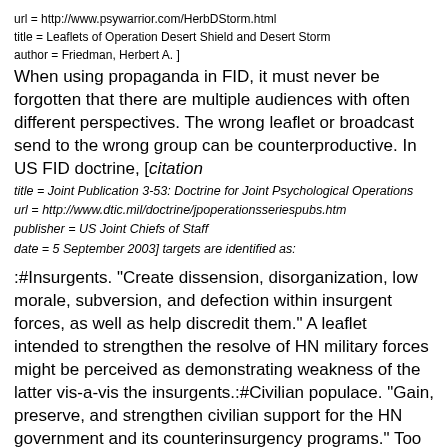url = http://www.psywarrior.com/HerbDStorm.html
title = Leaflets of Operation Desert Shield and Desert Storm
author = Friedman, Herbert A. ]
When using propaganda in FID, it must never be forgotten that there are multiple audiences with often different perspectives. The wrong leaflet or broadcast send to the wrong group can be counterproductive. In US FID doctrine, [citation
title = Joint Publication 3-53: Doctrine for Joint Psychological Operations
url = http://www.dtic.mil/doctrine/jpoperationsseriespubs.htm
publisher = US Joint Chiefs of Staff
date = 5 September 2003] targets are identified as:
:#Insurgents. "Create dissension, disorganization, low morale, subversion, and defection within insurgent forces, as well as help discredit them." A leaflet intended to strengthen the resolve of HN military forces might be perceived as demonstrating weakness of the latter vis-a-vis the insurgents.:#Civilian populace. "Gain, preserve, and strengthen civilian support for the HN government and its counterinsurgency programs." Too strong a military emphasis, regarding actions of either side, can be frightening.:#Military forces. Strengthen military support, with